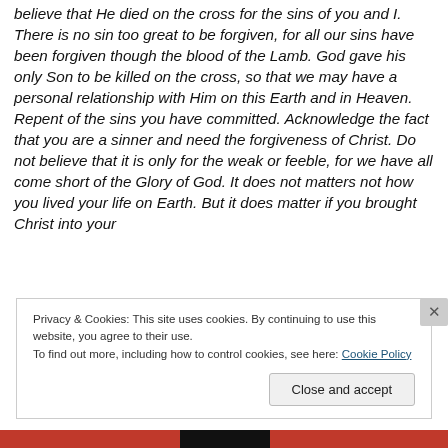believe that He died on the cross for the sins of you and I. There is no sin too great to be forgiven, for all our sins have been forgiven though the blood of the Lamb. God gave his only Son to be killed on the cross, so that we may have a personal relationship with Him on this Earth and in Heaven. Repent of the sins you have committed. Acknowledge the fact that you are a sinner and need the forgiveness of Christ. Do not believe that it is only for the weak or feeble, for we have all come short of the Glory of God. It does not matters not how you lived your life on Earth. But it does matter if you brought Christ into your
Privacy & Cookies: This site uses cookies. By continuing to use this website, you agree to their use.
To find out more, including how to control cookies, see here: Cookie Policy
Close and accept